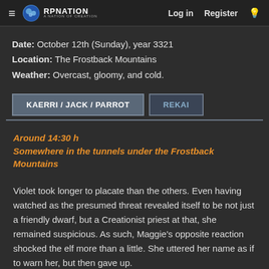RP Nation — Log in  Register
Date: October 12th (Sunday), year 3321
Location: The Frostback Mountains
Weather: Overcast, gloomy, and cold.
KAERRI / JACK / PARROT
REKAI
Around 14:30 h
Somewhere in the tunnels under the Frostback Mountains
Violet took longer to placate than the others. Even having watched as the presumed threat revealed itself to be not just a friendly dwarf, but a Creationist priest at that, she remained suspicious. As such, Maggie's opposite reaction shocked the elf more than a little. She uttered her name as if to warn her, but then gave up.